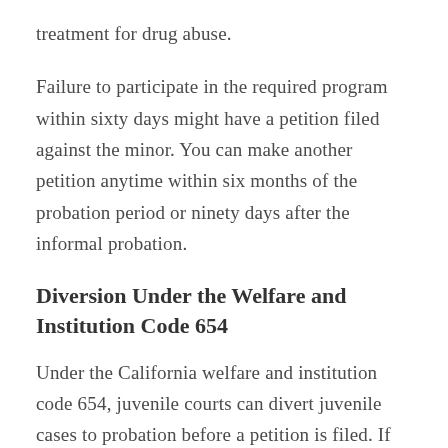treatment for drug abuse.
Failure to participate in the required program within sixty days might have a petition filed against the minor. You can make another petition anytime within six months of the probation period or ninety days after the informal probation.
Diversion Under the Welfare and Institution Code 654
Under the California welfare and institution code 654, juvenile courts can divert juvenile cases to probation before a petition is filed. If the alleged crime has been reduced to low-level offenses, an attorney will try to get a Section 654 diversion.